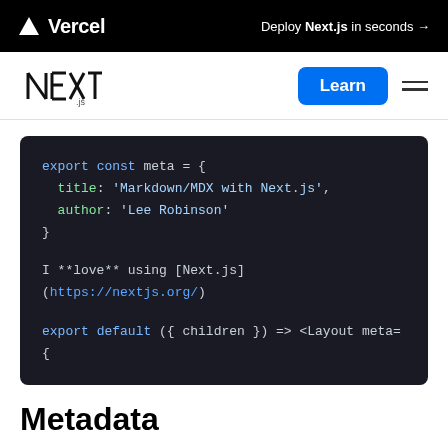▲ Vercel   Deploy Next.js in seconds →
[Figure (screenshot): Next.js logo with Learn button and hamburger menu navigation bar]
[Figure (screenshot): Code block showing MDX export with meta object containing title 'Markdown/MDX with Next.js' and author 'Lee Robinson', followed by I **love** using [Next.js](https://nextjs.org/) line and export default ({ children }) => <Layout meta={...]
Metadata